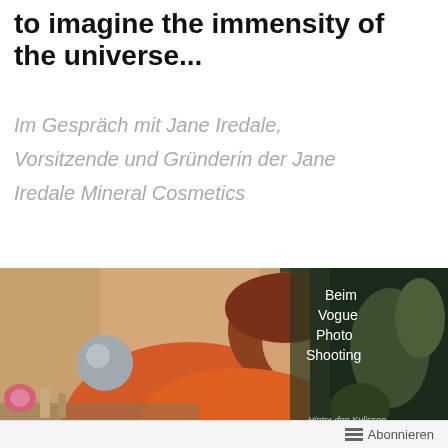to imagine the immensity of the universe...
Im Gespräch mit Jane Iredale, Vorsitzende und Gründerin der Jane Iredale Mineral Cosmetics
[Figure (photo): Woman with red-brown bob haircut in an orange top, seated at a table with cosmetics and flowers. Text overlay reads: Beim Vogue Photo Shooting. Bottom right text: Hinter den Kulissen]
Abonnieren